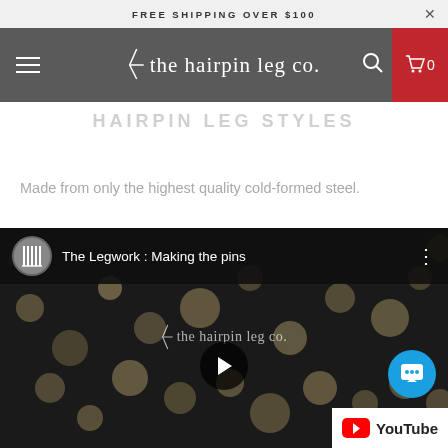FREE SHIPPING OVER $100
[Figure (screenshot): Website navigation bar with hamburger menu, 'the hairpin leg co.' logo, search icon, and red cart icon showing 0 items]
HAIRPIN LEG STYLES
Made from only the highest quality cold-formed steel.
[Figure (screenshot): YouTube video embed showing 'The Legwork: Making the pins' with channel thumbnail, video title, three-dot menu, play button overlay, hairpin leg co. logo watermark, chat button, and YouTube badge on dark bokeh background of metal rod ends]